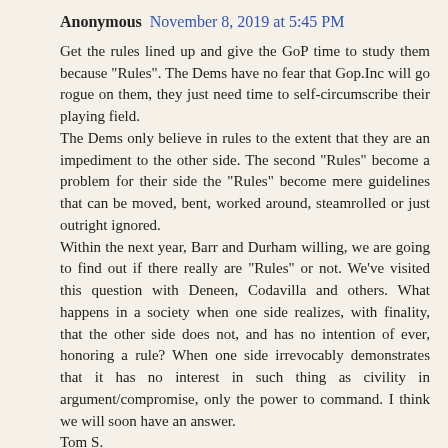Anonymous  November 8, 2019 at 5:45 PM
Get the rules lined up and give the GoP time to study them because "Rules". The Dems have no fear that Gop.Inc will go rogue on them, they just need time to self-circumscribe their playing field. The Dems only believe in rules to the extent that they are an impediment to the other side. The second "Rules" become a problem for their side the "Rules" become mere guidelines that can be moved, bent, worked around, steamrolled or just outright ignored. Within the next year, Barr and Durham willing, we are going to find out if there really are "Rules" or not. We've visited this question with Deneen, Codavilla and others. What happens in a society when one side realizes, with finality, that the other side does not, and has no intention of ever, honoring a rule? When one side irrevocably demonstrates that it has no interest in such thing as civility in argument/compromise, only the power to command. I think we will soon have an answer. Tom S.